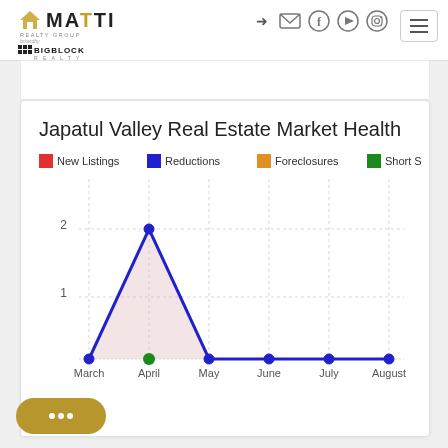[Figure (logo): MATTI Realty Group powered by BigBlock Realty logo]
[Figure (infographic): Navigation icons: login arrow, email, facebook, youtube, instagram; hamburger menu button]
Japatul Valley Real Estate Market Health
[Figure (line-chart): Japatul Valley Real Estate Market Health]